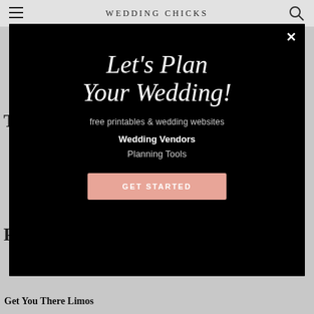WEDDING CHICKS
[Figure (screenshot): Modal popup overlay on Wedding Chicks website with dark background containing wedding planning call-to-action]
Let's Plan Your Wedding!
free printables & wedding websites
Wedding Vendors
Planning Tools
GET STARTED
Get You There Limos